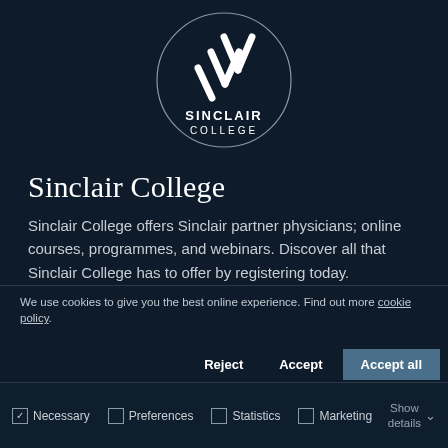[Figure (logo): Sinclair College circular logo with white chevron/K mark on dark navy background, text SINCLAIR COLLEGE below the mark inside circle]
Sinclair College
Sinclair College offers Sinclair partner physicians; online courses, programmes, and webinars. Discover all that Sinclair College has to offer by registering today.
We use cookies to give you the best online experience. Find out more cookie policy.
Reject   Accept   Accept all
☑ Necessary  ☐ Preferences  ☐ Statistics  ☐ Marketing  Show details